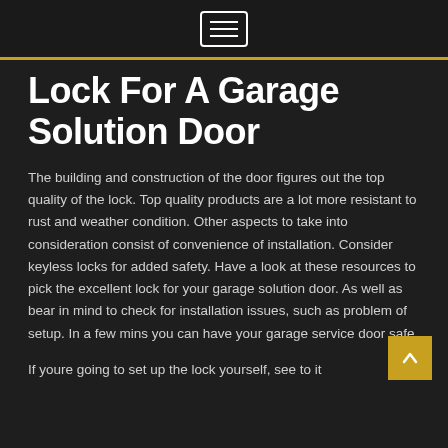☰
Lock For A Garage Solution Door
The building and construction of the door figures out the top quality of the lock. Top quality products are a lot more resistant to rust and weather condition. Other aspects to take into consideration consist of convenience of installation. Consider keyless locks for added safety. Have a look at these resources to pick the excellent lock for your garage solution door. As well as bear in mind to check for installation issues, such as problem of setup. In a few mins you can have your garage service door safe.
If youre going to set up the lock yourself, see to it